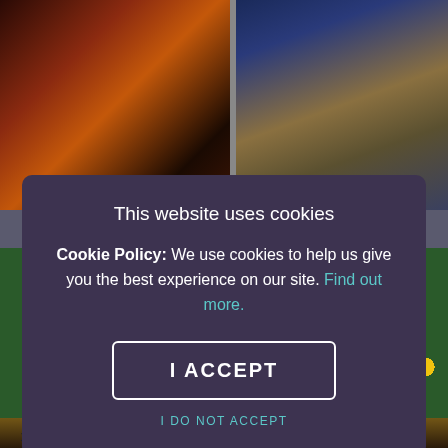[Figure (photo): Background webpage with two photo thumbnails at top (decorative mask photo on left, city building photo on right) and colorful ball pit photo at bottom, partially obscured by cookie consent modal]
This website uses cookies
Cookie Policy: We use cookies to help us give you the best experience on our site. Find out more.
I ACCEPT
I DO NOT ACCEPT
1. Best Events In January 2022